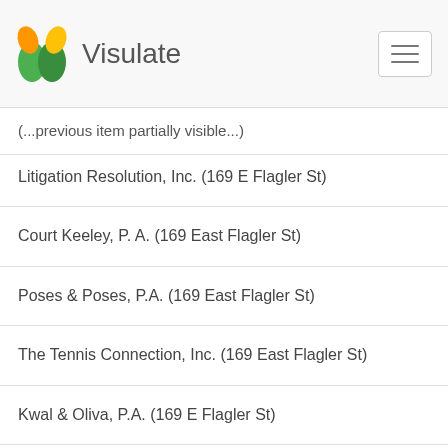Visulate
Litigation Resolution, Inc. (169 E Flagler St)
Court Keeley, P. A. (169 East Flagler St)
Poses & Poses, P.A. (169 East Flagler St)
The Tennis Connection, Inc. (169 East Flagler St)
Kwal & Oliva, P.A. (169 E Flagler St)
Sanchez Properties Services, LLC (169 East Flagler Street Suite 800)
Silcor LLC (169 East Flagler Street Suite 800)
Mirage Investments Corporation (169 East Flagler Street Suite 800)